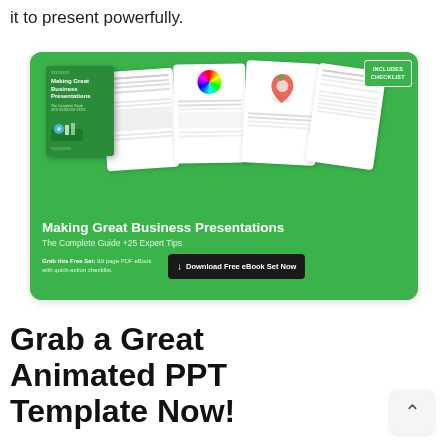it to present powerfully.
[Figure (illustration): Promotional banner for 'Making Great Business Presentations: The Complete Guide +25 Expert Tips' eBook. Green background with fanned-out page mockups and a book cover. Includes a download button and 'INCLUDES CHECKLIST' badge.]
Grab a Great Animated PPT Template Now!